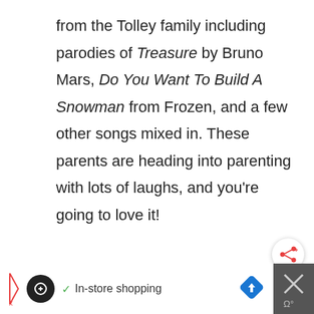from the Tolley family including parodies of Treasure by Bruno Mars, Do You Want To Build A Snowman from Frozen, and a few other songs mixed in. These parents are heading into parenting with lots of laughs, and you're going to love it!
[Figure (other): Share button (circular white button with red share icon and plus sign)]
[Figure (other): Advertisement bar at bottom: black background with white section containing a loop icon in black circle, checkmark, 'In-store shopping' text, blue diamond arrow icon; right section dark gray with X and Wi symbol]